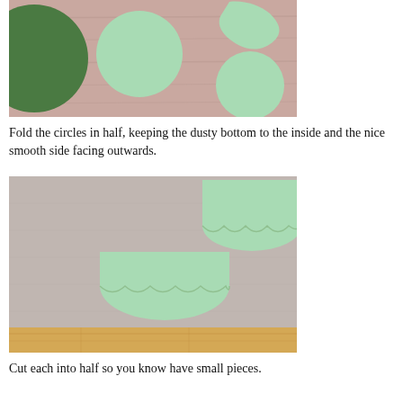[Figure (photo): Photo of green fabric circles cut out, lying on a pinkish-tan wooden table surface. One large dark green circle on left, one medium light green circle in center-top area, one small torn/jagged light green piece upper right, and one medium light green circle lower right.]
Fold the circles in half, keeping the dusty bottom to the inside and the nice smooth side facing outwards.
[Figure (photo): Photo of light green fabric circles folded in half into semicircles, placed on a gray fabric/felt surface. One semicircle flat in the center-left, one upright against upper right area showing the fold. A wooden table edge is visible at the bottom.]
Cut each into half so you know have small pieces.